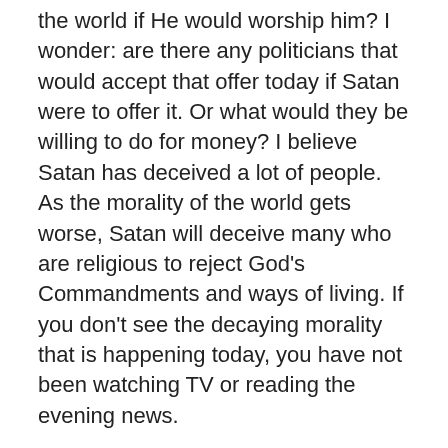the world if He would worship him? I wonder: are there any politicians that would accept that offer today if Satan were to offer it. Or what would they be willing to do for money? I believe Satan has deceived a lot of people. As the morality of the world gets worse, Satan will deceive many who are religious to reject God's Commandments and ways of living. If you don't see the decaying morality that is happening today, you have not been watching TV or reading the evening news.
I believe we are living in the end times and Satan does not want you to believe it. If you thought that within a few years the world would end as we know it, would you change if you thought there was a slight chance you could end up in hell? If everyone believed we were at the end, we would not have enough churches to handle the crowds. Satan—the great deceiver! He wouldn't want that